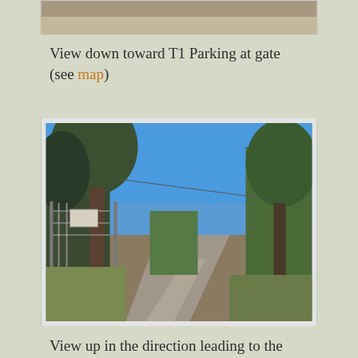[Figure (photo): Partial view of a landscape photo at top of page, cropped]
View down toward T1 Parking at gate (see map)
[Figure (photo): Outdoor photo showing a gravel/paved road leading through a gate with trees on both sides under a clear blue sky. A chain-link fence with a sign is visible on the left side.]
View up in the direction leading to the JCT with the Hay or Sunset Ridge Trail